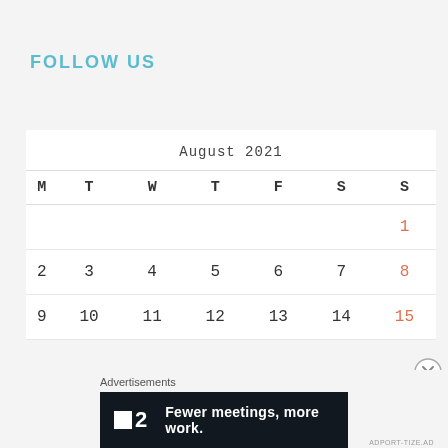FOLLOW US
| M | T | W | T | F | S | S |
| --- | --- | --- | --- | --- | --- | --- |
|  |  |  |  |  |  | 1 |
| 2 | 3 | 4 | 5 | 6 | 7 | 8 |
| 9 | 10 | 11 | 12 | 13 | 14 | 15 |
Advertisements
[Figure (other): Advertisement banner for Fewer meetings, more work. Dark background with logo showing a square icon and number 2.]